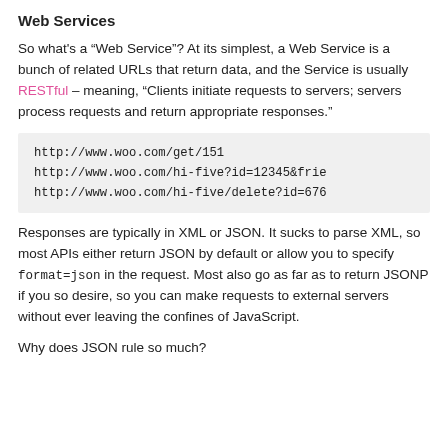Web Services
So what's a “Web Service”? At its simplest, a Web Service is a bunch of related URLs that return data, and the Service is usually RESTful – meaning, “Clients initiate requests to servers; servers process requests and return appropriate responses.”
http://www.woo.com/get/151
http://www.woo.com/hi-five?id=12345&frie
http://www.woo.com/hi-five/delete?id=676
Responses are typically in XML or JSON. It sucks to parse XML, so most APIs either return JSON by default or allow you to specify format=json in the request. Most also go as far as to return JSONP if you so desire, so you can make requests to external servers without ever leaving the confines of JavaScript.
Why does JSON rule so much?